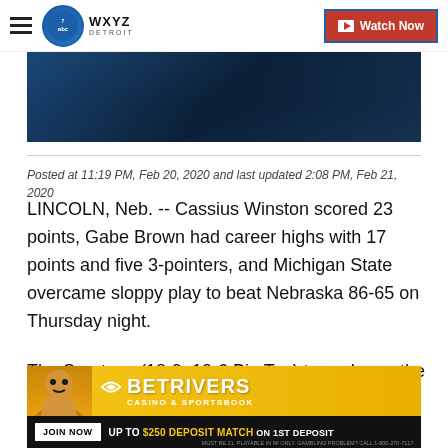WXYZ Detroit — Watch Now
[Figure (photo): Dark blue-toned banner image, partially visible, showing a blurred scene]
Posted at 11:19 PM, Feb 20, 2020 and last updated 2:08 PM, Feb 21, 2020
LINCOLN, Neb. -- Cassius Winston scored 23 points, Gabe Brown had career highs with 17 points and five 3-pointers, and Michigan State overcame sloppy play to beat Nebraska 86-65 on Thursday night.
The Spartans (18-9, 10-6 Big Ten) turned over the ball a season-high 22 times but made 13 3-pointers and outreb
[Figure (other): BetRivers Casino & Sportsbook advertisement banner: JOIN NOW — UP TO $250 DEPOSIT MATCH ON 1ST DEPOSIT]